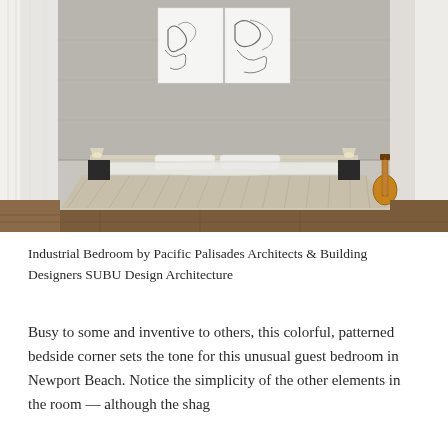[Figure (photo): Interior photo of an industrial-style bedroom featuring a low platform bed made from reclaimed wood beams, a concrete accent wall with abstract artwork, hardwood floors, flanking nightstands with lamps, sheer white curtains, and an acoustic guitar leaning against the wall on the right.]
Industrial Bedroom by Pacific Palisades Architects & Building Designers SUBU Design Architecture
Busy to some and inventive to others, this colorful, patterned bedside corner sets the tone for this unusual guest bedroom in Newport Beach. Notice the simplicity of the other elements in the room — although the shag